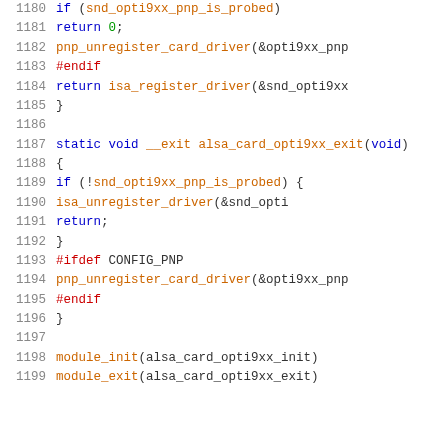[Figure (screenshot): Source code listing showing C code for ALSA sound card driver, lines 1180-1199, with syntax highlighting. Line numbers in gray, keywords in blue, preprocessor directives in red, function names in orange.]